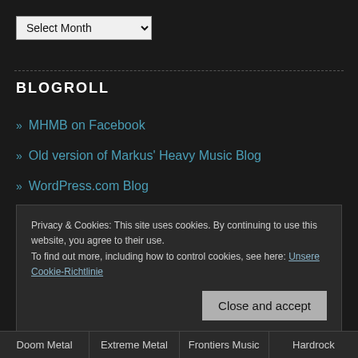Select Month (dropdown)
BLOGROLL
» MHMB on Facebook
» Old version of Markus' Heavy Music Blog
» WordPress.com Blog
Privacy & Cookies: This site uses cookies. By continuing to use this website, you agree to their use.
To find out more, including how to control cookies, see here: Unsere Cookie-Richtlinie
Close and accept
Doom Metal | Extreme Metal | Frontiers Music | Hardrock